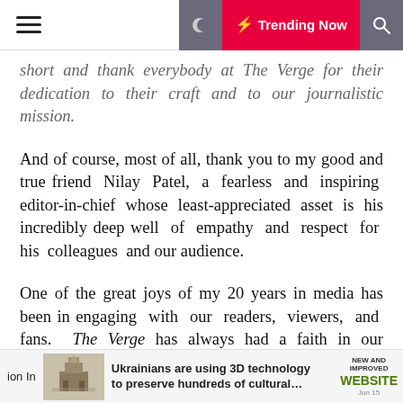Trending Now
short and thank everybody at The Verge for their dedication to their craft and to our journalistic mission.
And of course, most of all, thank you to my good and true friend Nilay Patel, a fearless and inspiring editor-in-chief whose least-appreciated asset is his incredibly deep well of empathy and respect for his colleagues and our audience.
One of the great joys of my 20 years in media has been in engaging with our readers, viewers, and fans. The Verge has always had a faith in our audience to be smart and to take even esoteric bits of technology seriously. That faith has been richly rewarded because our audience is smarter and cares even more than I could have guessed.
I've personally been lucky in that, instead of being on the receiving end of a merely parasocial relationship, I feel
ion In  Ukrainians are using 3D technology to preserve hundreds of cultural....  NEW AND IMPROVED WEBSITE